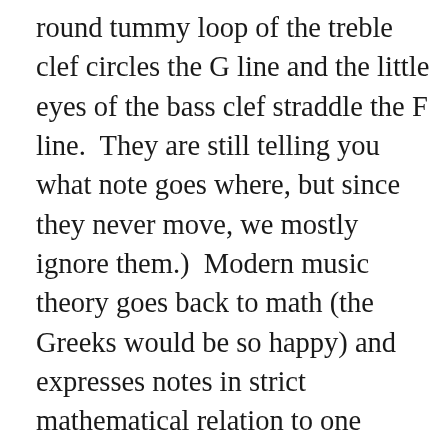round tummy loop of the treble clef circles the G line and the little eyes of the bass clef straddle the F line.  They are still telling you what note goes where, but since they never move, we mostly ignore them.)  Modern music theory goes back to math (the Greeks would be so happy) and expresses notes in strict mathematical relation to one another, rather than using the solfege syllables.  Sight singing from modern music is all about the numbers, specifically, distance in staff positions, which can be expressed like this: